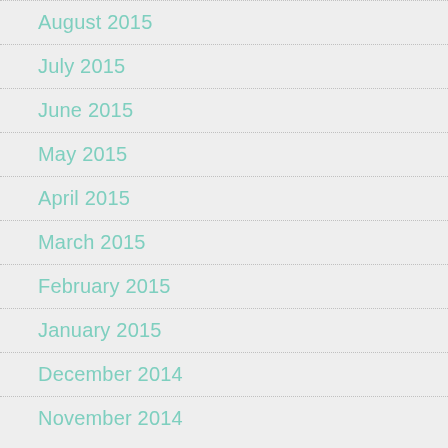August 2015
July 2015
June 2015
May 2015
April 2015
March 2015
February 2015
January 2015
December 2014
November 2014